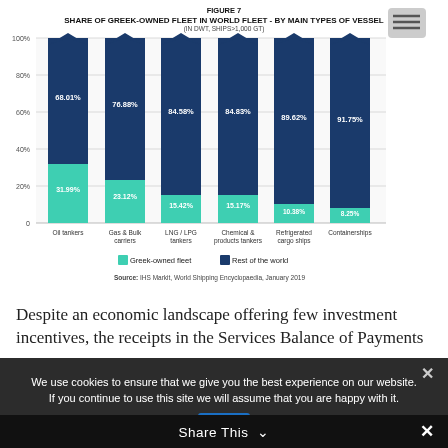FIGURE 7
SHARE OF GREEK-OWNED FLEET IN WORLD FLEET - BY MAIN TYPES OF VESSEL
(IN DWT, SHIPS>1,000 GT)
[Figure (stacked-bar-chart): Share of Greek-Owned Fleet in World Fleet - By Main Types of Vessel]
Source: IHS Markit, World Shipping Encyclopaedia, January 2019
Despite an economic landscape offering few investment incentives, the receipts in the Services Balance of Payments
We use cookies to ensure that we give you the best experience on our website. If you continue to use this site we will assume that you are happy with it.
Share This